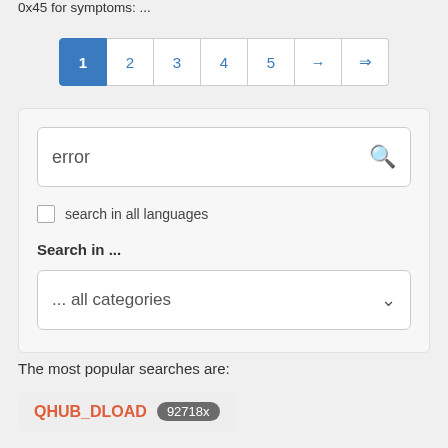0x45 for symptoms: ...
[Figure (screenshot): Pagination controls showing pages 1 (active/blue), 2, 3, 4, 5, next arrow, last arrow]
[Figure (screenshot): Search panel with text input containing 'error' and search icon, checkbox for 'search in all languages', 'Search in ...' label, and a dropdown showing '... all categories']
The most popular searches are:
QHUB_DLOAD 92718x